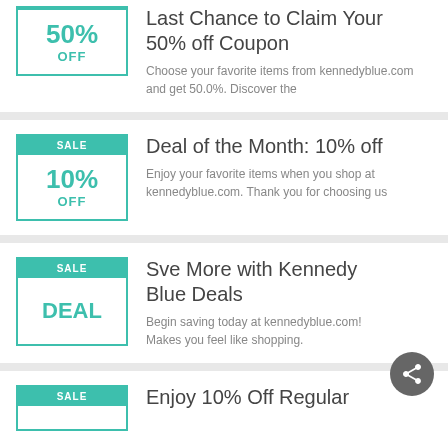[Figure (infographic): Coupon badge showing 50% OFF]
Last Chance to Claim Your 50% off Coupon
Choose your favorite items from kennedyblue.com and get 50.0%. Discover the
[Figure (infographic): Coupon badge showing SALE / 10% OFF]
Deal of the Month: 10% off
Enjoy your favorite items when you shop at kennedyblue.com. Thank you for choosing us
[Figure (infographic): Coupon badge showing SALE / DEAL]
Sve More with Kennedy Blue Deals
Begin saving today at kennedyblue.com! Makes you feel like shopping.
[Figure (infographic): Coupon badge showing SALE (partial, bottom cut off)]
Enjoy 10% Off Regular